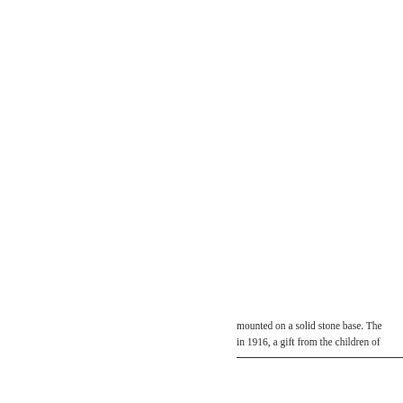mounted on a solid stone base. The in 1916, a gift from the children of